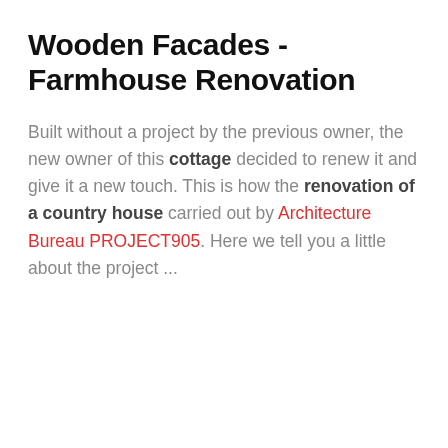Wooden Facades - Farmhouse Renovation
Built without a project by the previous owner, the new owner of this cottage decided to renew it and give it a new touch. This is how the renovation of a country house carried out by Architecture Bureau PROJECT905. Here we tell you a little about the project ...